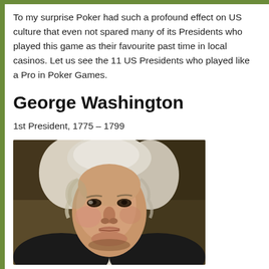To my surprise Poker had such a profound effect on US culture that even not spared many of its Presidents who played this game as their favourite past time in local casinos. Let us see the 11 US Presidents who played like a Pro in Poker Games.
George Washington
1st President, 1775 – 1799
[Figure (photo): Portrait painting of George Washington, showing his face and upper body, with powdered white hair, against a dark brownish background. Classical painted portrait style.]